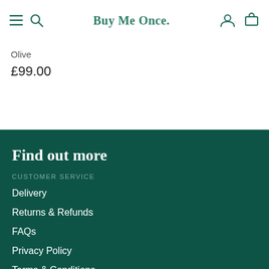Buy Me Once.
Olive
£99.00
Find out more
CUSTOMER SERVICE
Delivery
Returns & Refunds
FAQs
Privacy Policy
Terms & Conditions
Terms of Service